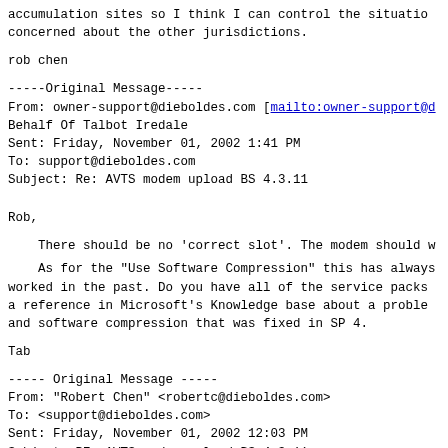accumulation sites so I think I can control the situation.
concerned about the other jurisdictions.
rob chen
-----Original Message-----
From: owner-support@dieboldes.com [mailto:owner-support@d
Behalf Of Talbot Iredale
Sent: Friday, November 01, 2002 1:41 PM
To: support@dieboldes.com
Subject: Re: AVTS modem upload BS 4.3.11
Rob,
There should be no 'correct slot'. The modem should w
As for the "Use Software Compression" this has always
worked in the past. Do you have all of the service packs
a reference in Microsoft's Knowledge base about a probler
and software compression that was fixed in SP 4.
Tab
----- Original Message -----
From: "Robert Chen" <robertc@dieboldes.com>
To: <support@dieboldes.com>
Sent: Friday, November 01, 2002 12:03 PM
Subject: RE: AVTS modem upload BS 4.3.11